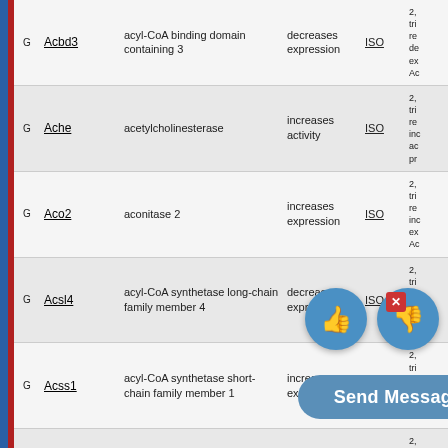|  | Gene | Description | Action | ISO | Details |
| --- | --- | --- | --- | --- | --- |
| G | Acbd3 | acyl-CoA binding domain containing 3 | decreases expression | ISO | 2, tri re de ex Ac |
| G | Ache | acetylcholinesterase | increases activity | ISO | 2, tri re inc ac pr |
| G | Aco2 | aconitase 2 | increases expression | ISO | 2, tri re inc ex Ac |
| G | Acsl4 | acyl-CoA synthetase long-chain family member 4 | decreases expression | ISO | 2, tri re de ex Ac |
| G | Acss1 | acyl-CoA synthetase short-chain family member 1 | increases expression | ISO | 2, tri re inc ex Ac |
| G | Actbl2 | actin, beta-like 2 | decreases expression | ISO | 2, tri re de ex |
[Figure (infographic): Thumbs up and thumbs down buttons overlay with a close button and Send Message button]